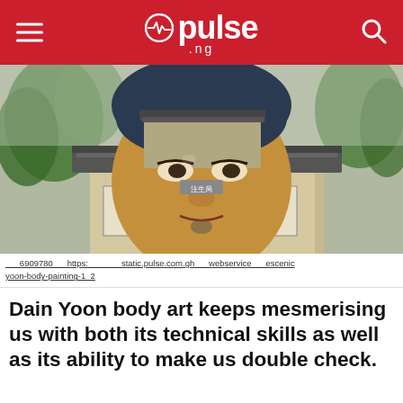pulse .ng
[Figure (photo): Photo of body painting art by Dain Yoon — a person has painted a traditional Korean building facade and face onto their body/head, creating an optical illusion. Background shows trees and a traditional Korean building.]
___6909780___https:_______static.pulse.com.gh___webservice___escenic yoon-body-painting-1_2
Dain Yoon body art keeps mesmerising us with both its technical skills as well as its ability to make us double check.